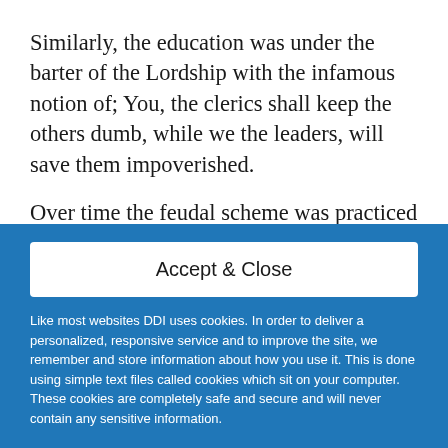Similarly, the education was under the barter of the Lordship with the infamous notion of; You, the clerics shall keep the others dumb, while we the leaders, will save them impoverished.
Over time the feudal scheme was practiced beyond the European continent reaching out to China, the Indus Valley, and Africa.
Accept & Close
Like most websites DDI uses cookies. In order to deliver a personalized, responsive service and to improve the site, we remember and store information about how you use it. This is done using simple text files called cookies which sit on your computer. These cookies are completely safe and secure and will never contain any sensitive information.